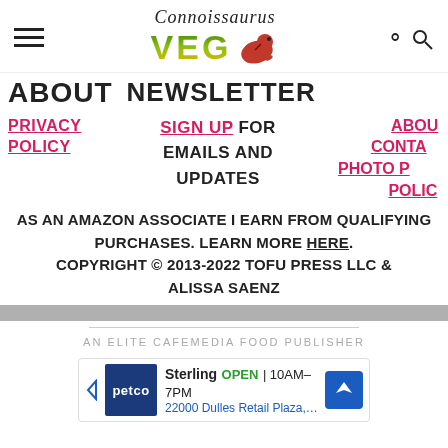[Figure (logo): Connoissaurus VEG logo with script text and red dinosaur illustration above colorful VEG text]
ABOUT
NEWSLETTER
PRIVACY POLICY
SIGN UP FOR EMAILS AND UPDATES
ABOUT
CONTA
PHOTO POLIC
AS AN AMAZON ASSOCIATE I EARN FROM QUALIFYING PURCHASES. LEARN MORE HERE.
COPYRIGHT © 2013-2022 TOFU PRESS LLC & ALISSA SAENZ
AN ELITE CAFEMEDIA FOOD PUBLISHER
[Figure (screenshot): Petco ad showing Sterling location open 10AM-7PM at 22000 Dulles Retail Plaza, #110, Ste]